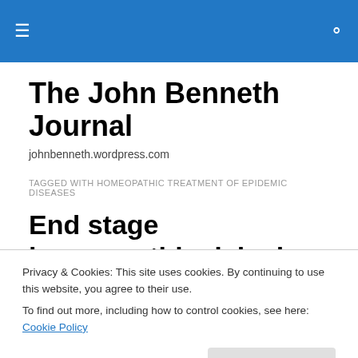The John Benneth Journal
johnbenneth.wordpress.com
TAGGED WITH HOMEOPATHIC TREATMENT OF EPIDEMIC DISEASES
End stage homeopathic delusion grips Earth
Privacy & Cookies: This site uses cookies. By continuing to use this website, you agree to their use.
To find out more, including how to control cookies, see here: Cookie Policy
Close and accept
No one can deny that it is counterintuitive. Its physics are